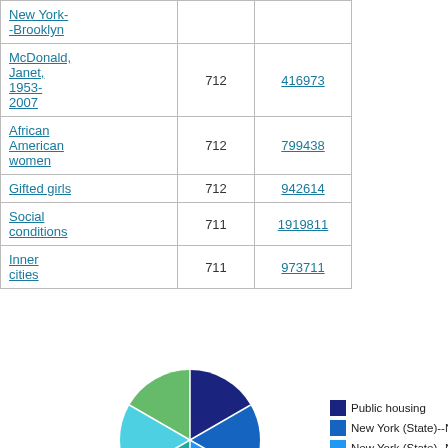| New York--Brooklyn |  |  |
| McDonald, Janet, 1953-2007 | 712 | 416973 |
| African American women | 712 | 799438 |
| Gifted girls | 712 | 942614 |
| Social conditions | 711 | 1919811 |
| Inner cities | 711 | 973711 |
[Figure (pie-chart): ]